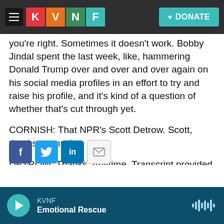[Figure (screenshot): KVNF radio station website header with logo and DONATE button]
you're right. Sometimes it doesn't work. Bobby Jindal spent the last week, like, hammering Donald Trump over and over and over again on his social media profiles in an effort to try and raise his profile, and it's kind of a question of whether that's cut through yet.
CORNISH: That NPR's Scott Detrow. Scott, thanks so much.
DETROW: Thanks. Anytime. Transcript provided by NPR, Copyright NPR.
[Figure (screenshot): Social share buttons: Facebook, Twitter, LinkedIn, Email]
KVNF — Emotional Rescue (player bar)